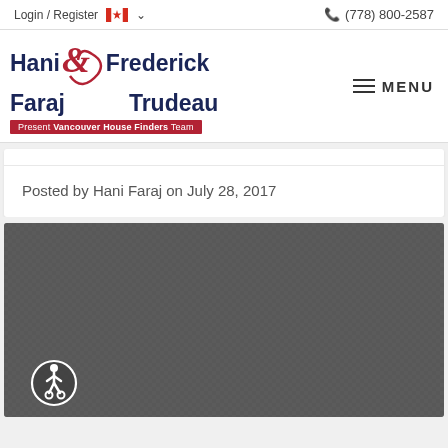Login / Register  (778) 800-2587
[Figure (logo): Hani & Frederick Faraj & Trudeau – Present Vancouver House Finders Team logo with red ampersand swirl and red banner subtitle]
Posted by Hani Faraj on July 28, 2017
[Figure (photo): Dark grey textured background image with accessibility wheelchair icon in bottom-left corner]